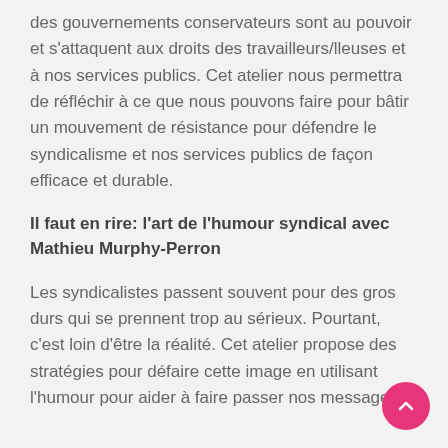des gouvernements conservateurs sont au pouvoir et s'attaquent aux droits des travailleurs/lleuses et à nos services publics. Cet atelier nous permettra de réfléchir à ce que nous pouvons faire pour bâtir un mouvement de résistance pour défendre le syndicalisme et nos services publics de façon efficace et durable.
Il faut en rire: l'art de l'humour syndical avec Mathieu Murphy-Perron
Les syndicalistes passent souvent pour des gros durs qui se prennent trop au sérieux. Pourtant, c'est loin d'être la réalité. Cet atelier propose des stratégies pour défaire cette image en utilisant l'humour pour aider à faire passer nos messages.